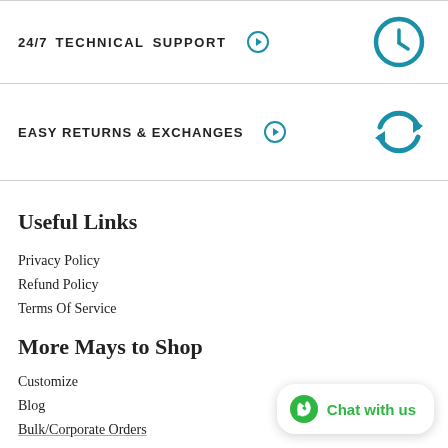24/7 TECHNICAL SUPPORT →
[Figure (illustration): Teal clock icon circle]
EASY RETURNS & EXCHANGES →
[Figure (illustration): Teal circular arrows refresh icon]
Useful Links
Privacy Policy
Refund Policy
Terms Of Service
More Mays to Shop
Customize
Blog
Bulk/Corporate Orders